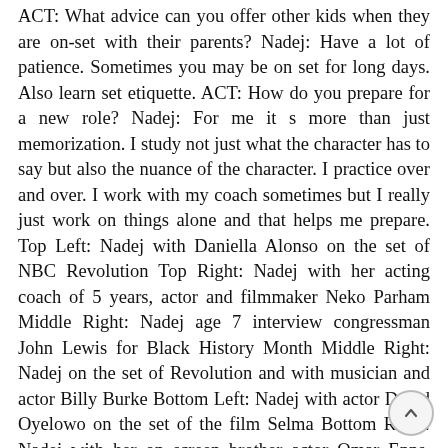ACT: What advice can you offer other kids when they are on-set with their parents? Nadej: Have a lot of patience. Sometimes you may be on set for long days. Also learn set etiquette. ACT: How do you prepare for a new role? Nadej: For me it s more than just memorization. I study not just what the character has to say but also the nuance of the character. I practice over and over. I work with my coach sometimes but I really just work on things alone and that helps me prepare. Top Left: Nadej with Daniella Alonso on the set of NBC Revolution Top Right: Nadej with her acting coach of 5 years, actor and filmmaker Neko Parham Middle Right: Nadej age 7 interview congressman John Lewis for Black History Month Middle Right: Nadej on the set of Revolution and with musician and actor Billy Burke Bottom Left: Nadej with actor David Oyelowo on the set of the film Selma Bottom Right: Nadej with her on screen brother actor Omar Epps, ABC Resurrection ACT: What do you think about when you are in front of the camera? Nadej: I stay focused and in character. ACT: Do you become the character? Nadej: Yes, I become the character. If I were just pretending I don t think it would come across as true. ACT: What else can we expect from you in the future? Nadej: Writing, directing and producing my own films.